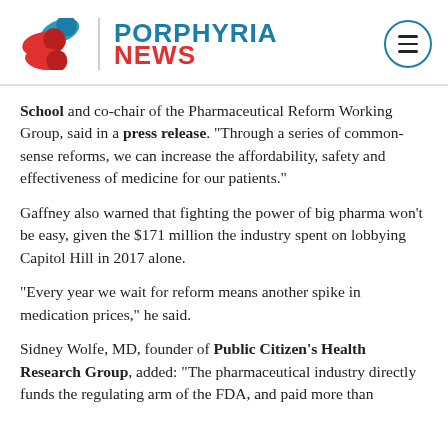PORPHYRIA NEWS
School and co-chair of the Pharmaceutical Reform Working Group, said in a press release. “Through a series of common-sense reforms, we can increase the affordability, safety and effectiveness of medicine for our patients.”
Gaffney also warned that fighting the power of big pharma won’t be easy, given the $171 million the industry spent on lobbying Capitol Hill in 2017 alone.
“Every year we wait for reform means another spike in medication prices,” he said.
Sidney Wolfe, MD, founder of Public Citizen’s Health Research Group, added: “The pharmaceutical industry directly funds the regulating arm of the FDA, and paid more than